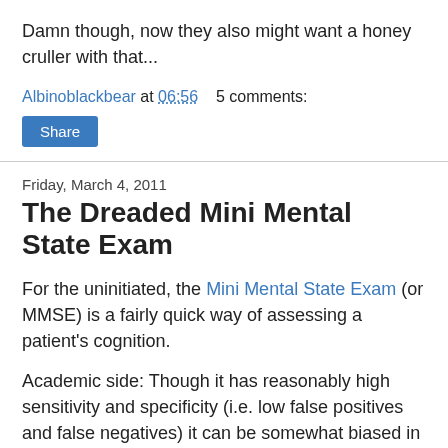Damn though, now they also might want a honey cruller with that...
Albinoblackbear at 06:56    5 comments:
Share
Friday, March 4, 2011
The Dreaded Mini Mental State Exam
For the uninitiated, the Mini Mental State Exam (or MMSE) is a fairly quick way of assessing a patient's cognition.
Academic side: Though it has reasonably high sensitivity and specificity (i.e. low false positives and false negatives) it can be somewhat biased in favor of younger patients with higher levels of education.
Reality side: It is a horrible, annoying, frustrating test for many elderly people. Either they are sharp as a razor and